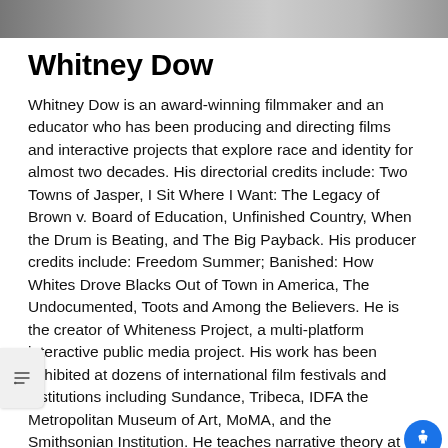[Figure (photo): Partial photo of Whitney Dow at the top of the page, cropped to a strip]
Whitney Dow
Whitney Dow is an award-winning filmmaker and an educator who has been producing and directing films and interactive projects that explore race and identity for almost two decades. His directorial credits include: Two Towns of Jasper, I Sit Where I Want: The Legacy of Brown v. Board of Education, Unfinished Country, When the Drum is Beating, and The Big Payback. His producer credits include: Freedom Summer; Banished: How Whites Drove Blacks Out of Town in America, The Undocumented, Toots and Among the Believers. He is the creator of Whiteness Project, a multi-platform interactive public media project. His work has been exhibited at dozens of international film festivals and institutions including Sundance, Tribeca, IDFA the Metropolitan Museum of Art, MoMA, and the Smithsonian Institution. He teaches narrative theory at